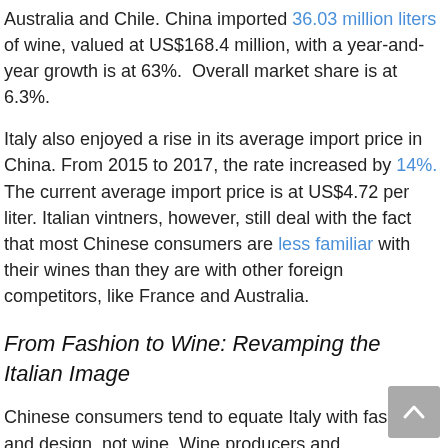Australia and Chile. China imported 36.03 million liters of wine, valued at US$168.4 million, with a year-and-year growth is at 63%.  Overall market share is at 6.3%.
Italy also enjoyed a rise in its average import price in China. From 2015 to 2017, the rate increased by 14%. The current average import price is at US$4.72 per liter. Italian vintners, however, still deal with the fact that most Chinese consumers are less familiar with their wines than they are with other foreign competitors, like France and Australia.
From Fashion to Wine: Revamping the Italian Image
Chinese consumers tend to equate Italy with fashion and design, not wine. Wine producers and organizations have been working hard to change this. In 2017, the ICE-Italian Trade Promotion Agency